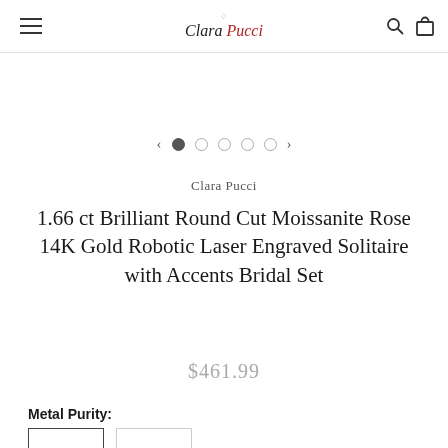Clara Pucci — navigation header with hamburger menu, logo, search and bag icons
[Figure (other): Carousel navigation dots with left and right arrows, 5 dots, first dot active]
Clara Pucci
1.66 ct Brilliant Round Cut Moissanite Rose 14K Gold Robotic Laser Engraved Solitaire with Accents Bridal Set
$461.99
Metal Purity: